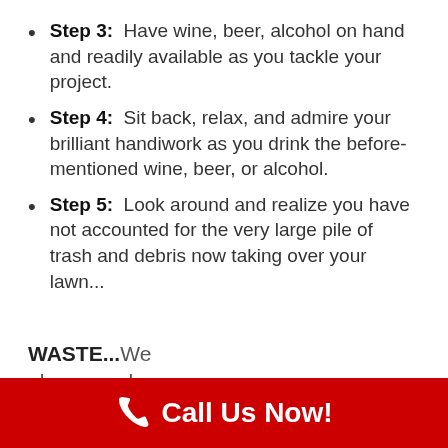Step 3:  Have wine, beer, alcohol on hand and readily available as you tackle your project.
Step 4:  Sit back, relax, and admire your brilliant handiwork as you drink the before-mentioned wine, beer, or alcohol.
Step 5:  Look around and realize you have not accounted for the very large pile of trash and debris now taking over your lawn...
WASTE...We always end up with way more than we had
Call Us Now!